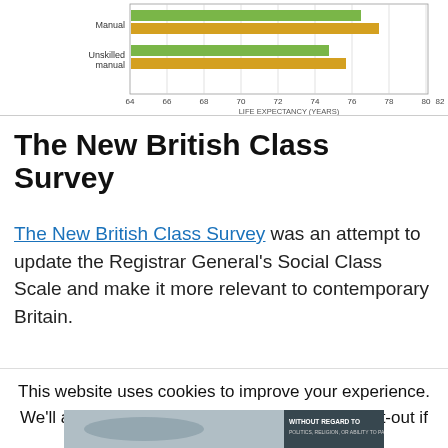[Figure (bar-chart): Partial horizontal bar chart showing life expectancy by social class. Visible rows: 'Manual' and 'Unskilled manual' with green and orange bars. X-axis labeled 'LIFE EXPECTANCY (YEARS)' ranging from 64 to 84.]
The New British Class Survey
The New British Class Survey was an attempt to update the Registrar General's Social Class Scale and make it more relevant to contemporary Britain.
This website uses cookies to improve your experience. We'll assume you're ok with this, but you can opt-out if
[Figure (photo): Advertisement image showing cargo being loaded onto an airplane with text 'WITHOUT REGARD TO POLITICS, RELIGION, OR ABILITY TO PAY']